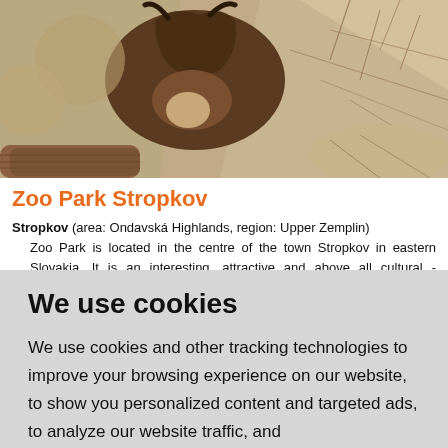[Figure (photo): Close-up photo of a brown animal (possibly a bison or goat) among rocks and logs, viewed from above]
Zoo Park Stropkov
Stropkov (area: Ondavská Highlands, region: Upper Zemplin)
   Zoo Park is located in the centre of the town Stropkov in eastern Slovakia. It is an interesting, attractive and above all cultural - educational establishment of Stropkov. It was created in 1984 when a station for young naturalists was built from the initiative of children and parents. It was later renamed as Zoo. Zoo Park features lots of animals in 40 aviaries. Its location in the middle of the city offers residents and visitors throughout the
We use cookies
We use cookies and other tracking technologies to improve your browsing experience on our website, to show you personalized content and targeted ads, to analyze our website traffic, and